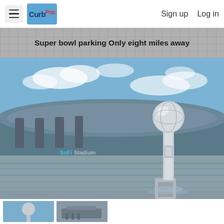☰ CurbPop  Sign up  Log in
Super bowl parking Only eight miles away
[Figure (photo): Vince Lombardi Trophy replica in front of SoFi Stadium with blue sky and fountain in background]
[Figure (photo): Thumbnail 1 - close-up of trophy top ball against sky]
[Figure (photo): Thumbnail 2 - stadium building exterior]